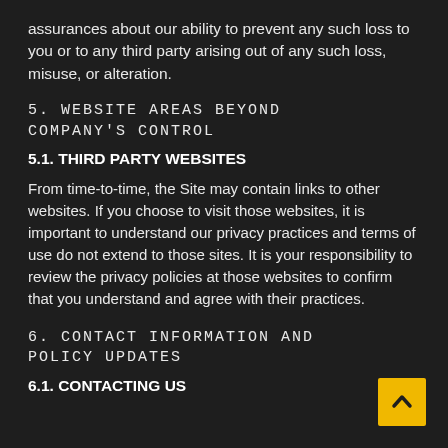assurances about our ability to prevent any such loss to you or to any third party arising out of any such loss, misuse, or alteration.
5. WEBSITE AREAS BEYOND COMPANY'S CONTROL
5.1. THIRD PARTY WEBSITES
From time-to-time, the Site may contain links to other websites. If you choose to visit those websites, it is important to understand our privacy practices and terms of use do not extend to those sites. It is your responsibility to review the privacy policies at those websites to confirm that you understand and agree with their practices.
6. CONTACT INFORMATION AND POLICY UPDATES
6.1. CONTACTING US